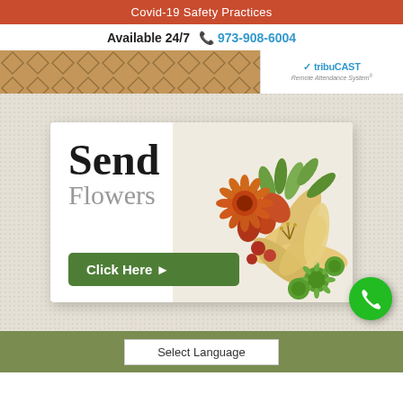Covid-19 Safety Practices
Available 24/7  973-908-6004
[Figure (screenshot): Banner with woven basket pattern on left and TribuCast Remote Attendance System logo on right]
[Figure (illustration): Send Flowers advertisement card with floral bouquet image, text 'Send Flowers' and a green 'Click Here' button]
Select Language